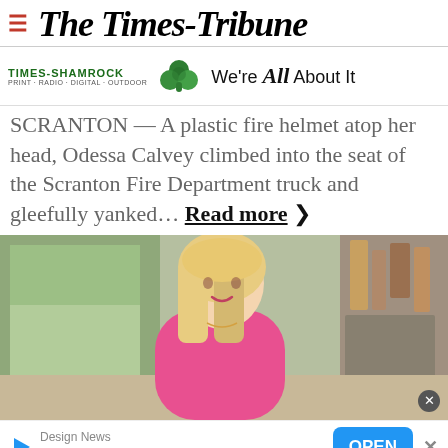The Times-Tribune
[Figure (logo): Times-Shamrock logo with shamrock icon and 'We're All About It' tagline]
SCRANTON — A plastic fire helmet atop her head, Odessa Calvey climbed into the seat of the Scranton Fire Department truck and gleefully yanked… Read more
[Figure (photo): Photo of a blonde woman in a pink top seated indoors with artwork visible in the background]
[Figure (other): Advertisement banner: Design News - Design News: Engineering Pros with OPEN button]